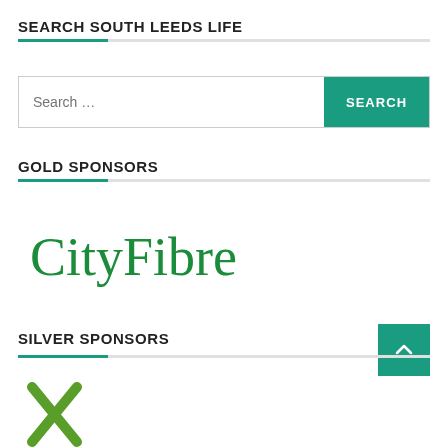SEARCH SOUTH LEEDS LIFE
[Figure (screenshot): Search bar with text 'Search ...' and a teal SEARCH button]
GOLD SPONSORS
[Figure (logo): CityFibre logo in green serif font]
SILVER SPONSORS
[Figure (logo): Partial windmill/cross logo in green at bottom of page]